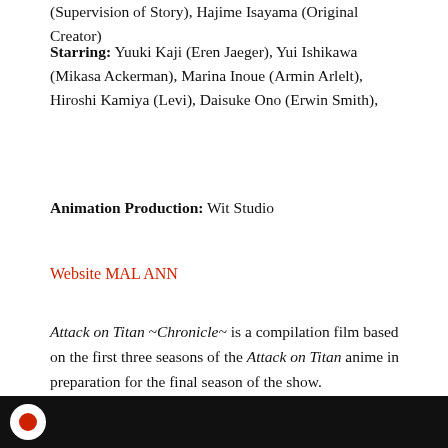(Supervision of Story), Hajime Isayama (Original Creator)
Starring: Yuuki Kaji (Eren Jaeger), Yui Ishikawa (Mikasa Ackerman), Marina Inoue (Armin Arlelt), Hiroshi Kamiya (Levi), Daisuke Ono (Erwin Smith),
Animation Production: Wit Studio
Website MAL ANN
Attack on Titan ~Chronicle~ is a compilation film based on the first three seasons of the Attack on Titan anime in preparation for the final season of the show.
[Figure (screenshot): Black bar at the bottom with a white circle icon containing a red circle inside, resembling a video/media player interface element.]